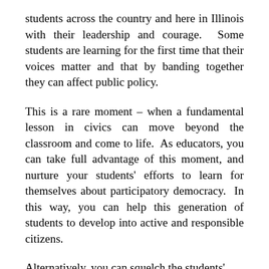students across the country and here in Illinois with their leadership and courage.  Some students are learning for the first time that their voices matter and that by banding together they can affect public policy.
This is a rare moment – when a fundamental lesson in civics can move beyond the classroom and come to life.  As educators, you can take full advantage of this moment, and nurture your students' efforts to learn for themselves about participatory democracy.  In this way, you can help this generation of students to develop into active and responsible citizens.
Alternatively, you can squelch the students'